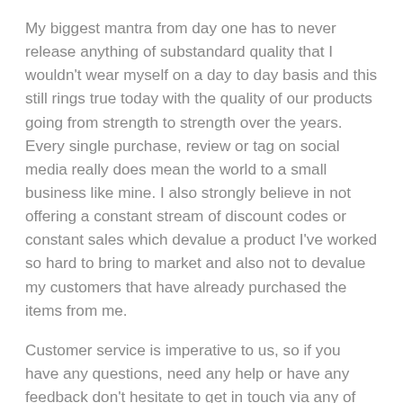My biggest mantra from day one has to never release anything of substandard quality that I wouldn't wear myself on a day to day basis and this still rings true today with the quality of our products going from strength to strength over the years. Every single purchase, review or tag on social media really does mean the world to a small business like mine. I also strongly believe in not offering a constant stream of discount codes or constant sales which devalue a product I've worked so hard to bring to market and also not to devalue my customers that have already purchased the items from me.
Customer service is imperative to us, so if you have any questions, need any help or have any feedback don't hesitate to get in touch via any of the methods listed as the bottom of the page.
Shipping - I aim to ship orders placed within 24 hours of the order being placed, all items are shipped using